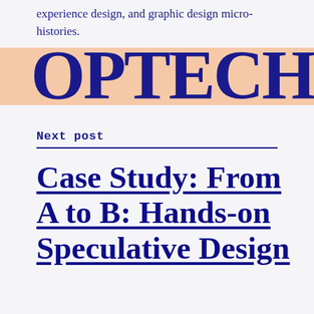experience design, and graphic design micro-histories.
[Figure (other): Large decorative cropped text banner with peach/salmon background showing partial bold letters in dark navy blue, appearing to be a section or chapter header graphic]
Next post
Case Study: From A to B: Hands-on Speculative Design